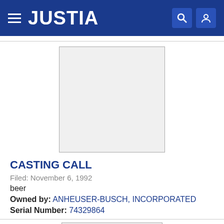JUSTIA
[Figure (other): Blank trademark image placeholder - white/light gray square with border]
CASTING CALL
Filed: November 6, 1992
beer
Owned by: ANHEUSER-BUSCH, INCORPORATED
Serial Number: 74329864
[Figure (other): Second trademark image placeholder - partially visible white/light gray rectangle with border]